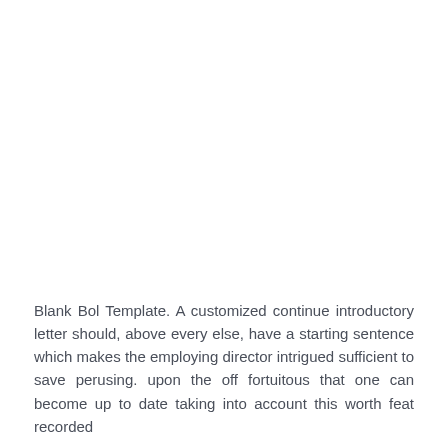Blank Bol Template. A customized continue introductory letter should, above every else, have a starting sentence which makes the employing director intrigued sufficient to save perusing. upon the off fortuitous that one can become up to date taking into account this worth feat recorded